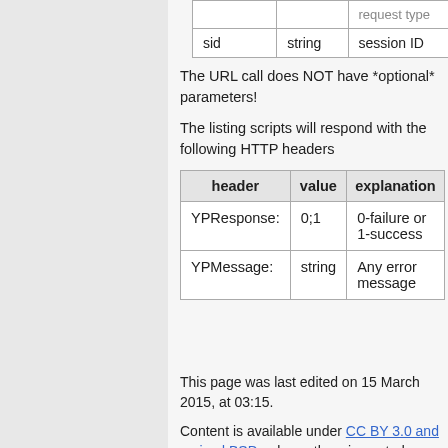|  |  | request type |
| --- | --- | --- |
| sid | string | session ID |
The URL call does NOT have *optional* parameters!
The listing scripts will respond with the following HTTP headers
| header | value | explanation |
| --- | --- | --- |
| YPResponse: | 0;1 | 0-failure or 1-success |
| YPMessage: | string | Any error message |
This page was last edited on 15 March 2015, at 03:15.
Content is available under CC BY 3.0 and revised BSD unless otherwise noted.